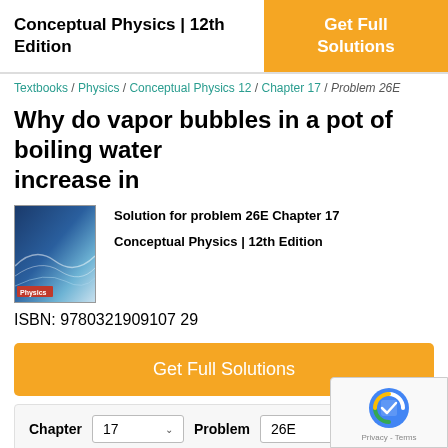Conceptual Physics | 12th Edition
Get Full Solutions
Textbooks / Physics / Conceptual Physics 12 / Chapter 17 / Problem 26E
Why do vapor bubbles in a pot of boiling water increase in
[Figure (photo): Book cover of Conceptual Physics 12th Edition]
Solution for problem 26E Chapter 17
Conceptual Physics | 12th Edition
ISBN: 9780321909107 29
Get Full Solutions
Chapter  17   Problem  26E
★★★★★ 399 Reviews  👍 14  👎 0
Problem 26E
Why do vapor bubbles in a pot of boiling water increase in size as they rise in the